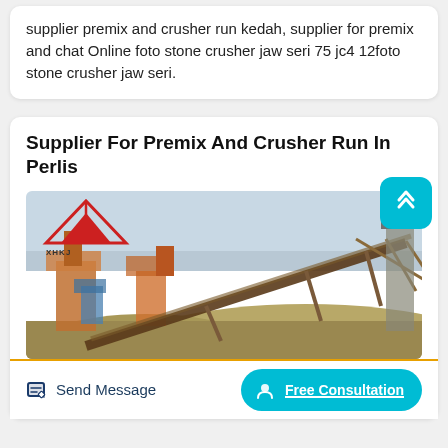supplier premix and crusher run kedah, supplier for premix and chat Online foto stone crusher jaw seri 75 jc4 12foto stone crusher jaw seri.
Supplier For Premix And Crusher Run In Perlis
[Figure (photo): Photo of a stone crusher / quarry facility with industrial conveyor belts, metal structures, and aggregate piles. Logo of XHKJ (mountain/triangle logo in red) in upper left.]
Send Message
Free Consultation